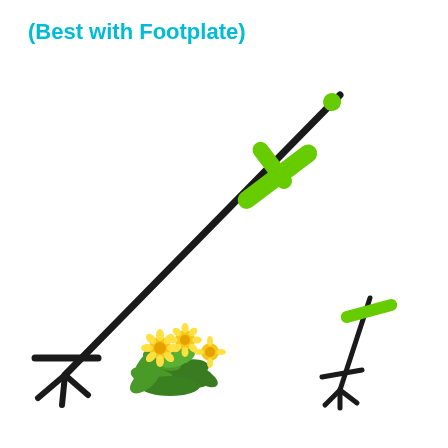(Best with Footplate)
[Figure (photo): A standing weed puller tool with a green T-shaped handle grip and black metal shaft, with forked prongs at the bottom end. A second smaller version of the tool is shown beside a yellow dandelion flower plant. The tool is designed for removing weeds from the ground without bending.]